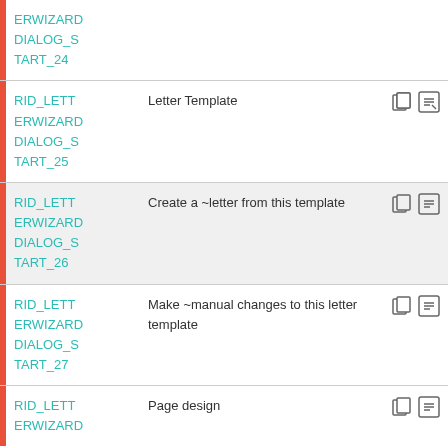| ID | Description | Icons |
| --- | --- | --- |
| RID_LETTERWIZARD
DIALOG_S
TART_24 |  |  |
| RID_LETTERWIZARD
DIALOG_S
TART_25 | Letter Template | copy|translate |
| RID_LETTERWIZARD
DIALOG_S
TART_26 | Create a ~letter from this template | copy|translate |
| RID_LETTERWIZARD
DIALOG_S
TART_27 | Make ~manual changes to this letter template | copy|translate |
| RID_LETTERWIZARD
ERWIZARD | Page design | copy|translate |